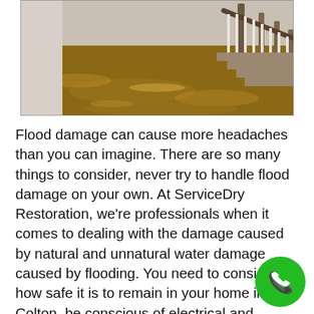[Figure (photo): Flooded indoor room with brown water covering a hardwood floor, staircase with white balusters visible in the background, walls appear white/cream colored.]
Flood damage can cause more headaches than you can imagine. There are so many things to consider, never try to handle flood damage on your own. At ServiceDry Restoration, we're professionals when it comes to dealing with the damage caused by natural and unnatural water damage caused by flooding. You need to consider how safe it is to remain in your home in Colton, be conscious of electrical and environmental (mold) hazards, but mainly you need to get a team of professionals site immediately to begin the involved process water damage restoration to handle the flood damage safely and efficiently.
[Figure (illustration): Green circular phone/call button with white telephone handset icon.]